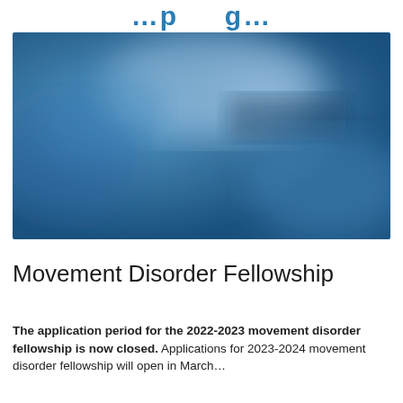…p…g…
[Figure (photo): Blurred blue abstract image, possibly a medical or institutional setting with indistinct shapes on a blue background]
Movement Disorder Fellowship
The application period for the 2022-2023 movement disorder fellowship is now closed. Applications for 2023-2024 movement disorder fellowship will open in March…